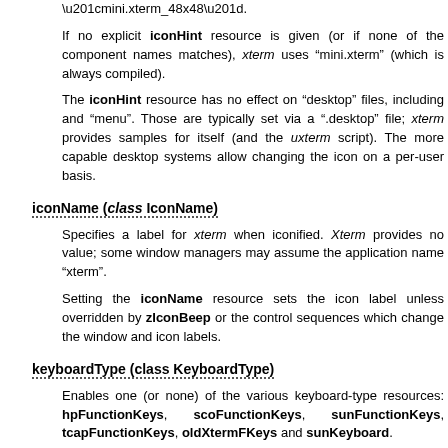“mini.xterm_48x48”.
If no explicit iconHint resource is given (or if none of the component names matches), xterm uses “mini.xterm” (which is always compiled).
The iconHint resource has no effect on “desktop” files, including and “menu”. Those are typically set via a “.desktop” file; xterm provides samples for itself (and the uxterm script). The more capable desktop systems allow changing the icon on a per-user basis.
iconName (class IconName)
Specifies a label for xterm when iconified. Xterm provides no value; some window managers may assume the application name “xterm”.
Setting the iconName resource sets the icon label unless overridden by zIconBeep or the control sequences which change the window and icon labels.
keyboardType (class KeyboardType)
Enables one (or none) of the various keyboard-type resources: hpFunctionKeys, scoFunctionKeys, sunFunctionKeys, tcapFunctionKeys, oldXtermFKeys and sunKeyboard.
The resource’s value should be one of the corresponding strings “sco”, “sun”, “tcap”, “legacy” or “vt220”, respectively.